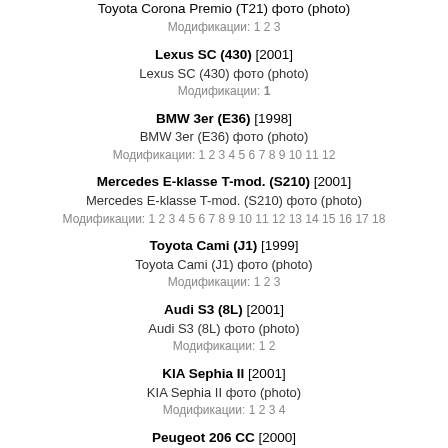Toyota Corona Premio (T21) фото (photo)
Модификации: 1 2 3
Lexus SC (430) [2001]
Lexus SC (430) фото (photo)
Модификации: 1
BMW 3er (E36) [1998]
BMW 3er (E36) фото (photo)
Модификации: 1 2 3 4 5 6 7 8 9 10 11 12
Mercedes E-klasse T-mod. (S210) [2001]
Mercedes E-klasse T-mod. (S210) фото (photo)
Модификации: 1 2 3 4 5 6 7 8 9 10 11 12 13 14 15 16 17 18
Toyota Cami (J1) [1999]
Toyota Cami (J1) фото (photo)
Модификации: 1 2 3
Audi S3 (8L) [2001]
Audi S3 (8L) фото (photo)
Модификации: 1 2
KIA Sephia II [2001]
KIA Sephia II фото (photo)
Модификации: 1 2 3 4
Peugeot 206 CC [2000]
Peugeot 206 CC фото (photo)
Модификации: 1 2